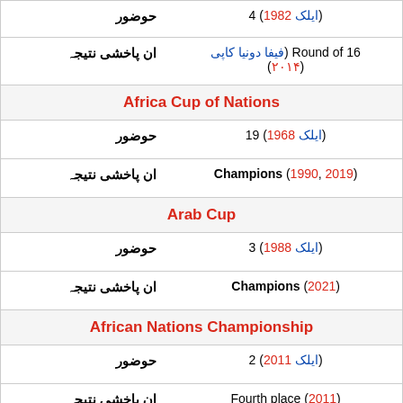| ان پاخشی نتیجہ | حوضور |
| --- | --- |
| حوضور | 4 (ایلک 1982) |
| ان پاخشی نتیجہ | Round of 16 (فیفا دونیا کاپی 2014) |
| Africa Cup of Nations |  |
| حوضور | 19 (ایلک 1968) |
| ان پاخشی نتیجہ | Champions (1990, 2019) |
| Arab Cup |  |
| حوضور | 3 (ایلک 1988) |
| ان پاخشی نتیجہ | Champions (2021) |
| African Nations Championship |  |
| حوضور | 2 (ایلک 2011) |
| ان پاخشی نتیجہ | Fourth place (2011) |